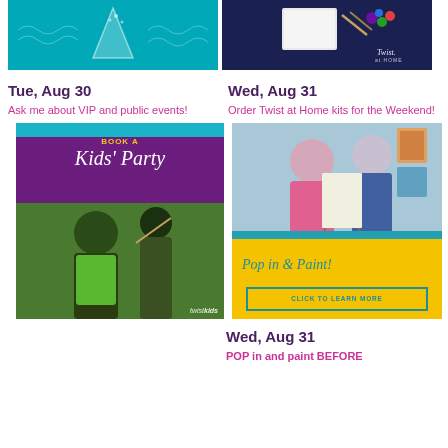[Figure (photo): Teal/turquoise promotional image with party hat graphic on left side]
[Figure (photo): Dark blue/navy image of art supplies - canvas, paint kit - Twist at Home branding on right side]
Tue, Aug 30
Wed, Aug 31
Ask me about VIP and public events!
Order Twist at Home kits for the Weekend!
[Figure (photo): Kids Party promotional image - purple and teal with script text 'Book a Kids Party' and photo of children painting, Twist Kids logo at bottom right]
[Figure (photo): Pop in & Paint promotional image - photo of instructor and student painting, yellow bottom section with teal script text 'Pop in & Paint!' and CLICK TO LEARN MORE button]
Wed, Aug 31
POP in and paint BEFORE